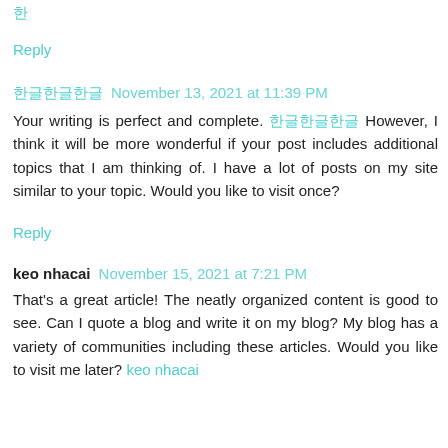한
Reply
한글한글한글  November 13, 2021 at 11:39 PM
Your writing is perfect and complete. 한글한글한글 However, I think it will be more wonderful if your post includes additional topics that I am thinking of. I have a lot of posts on my site similar to your topic. Would you like to visit once?
Reply
keo nhacai  November 15, 2021 at 7:21 PM
That's a great article! The neatly organized content is good to see. Can I quote a blog and write it on my blog? My blog has a variety of communities including these articles. Would you like to visit me later? keo nhacai